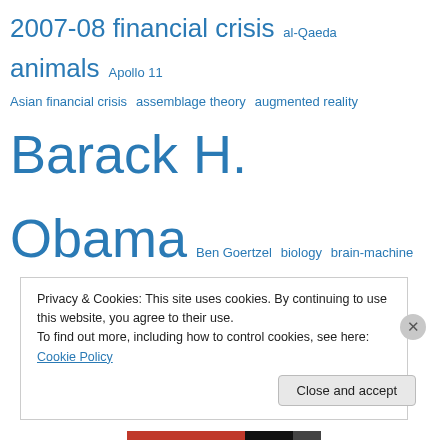[Figure (infographic): Tag cloud with various topic terms in different sizes, all in blue. Terms include: 2007-08 financial crisis, al-Qaeda, animals, Apollo 11, Asian financial crisis, assemblage theory, augmented reality, Barack H. Obama, Ben Goertzel, biology, brain-machine interface, brain science, Buddhism, Charles Mudede, choice architecture, climate change, complexity, computers, cosmology, Dan Savage, David Brooks, David Foster Wallace, Democratic Party, Ezra Klein, Federal Reserve, Financial Times, First World War, Fojol Brothers, fourth generation warfare, Francis Fukuyama, Frank Episale, George W. Bush Jr., Georg Wilhelm]
Privacy & Cookies: This site uses cookies. By continuing to use this website, you agree to their use.
To find out more, including how to control cookies, see here: Cookie Policy
Close and accept